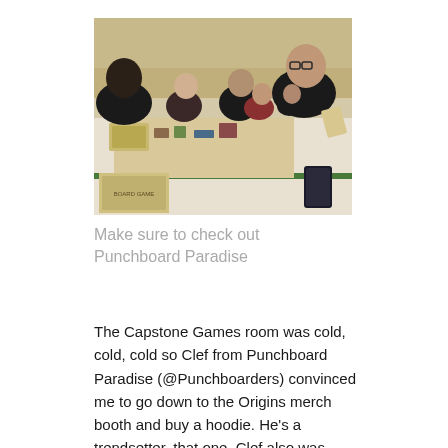[Figure (photo): People sitting around a long table playing a board game at what appears to be a convention hall. Board game components, miniatures, and cards are spread across the table. Several players are visible, some holding cards or game pieces.]
Make sure to check out Punchboard Paradise
The Capstone Games room was cold, cold, cold so Clef from Punchboard Paradise (@Punchboarders) convinced me to go down to the Origins merch booth and buy a hoodie. He’s a trendsetter, that one. Clef also was